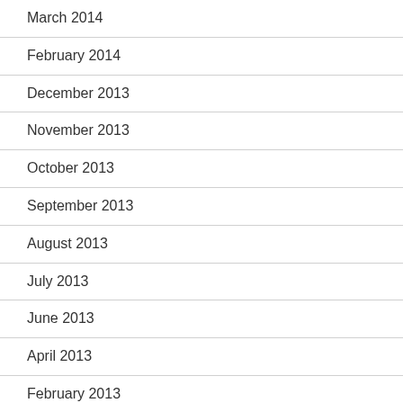March 2014
February 2014
December 2013
November 2013
October 2013
September 2013
August 2013
July 2013
June 2013
April 2013
February 2013